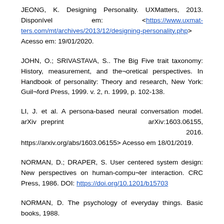JEONG, K. Designing Personality. UXMatters, 2013. Disponível em: <https://www.uxmat-ters.com/mt/archives/2013/12/designing-personality.php> Acesso em: 19/01/2020.
JOHN, O.; SRIVASTAVA, S.. The Big Five trait taxonomy: History, measurement, and the¬oretical perspectives. In Handbook of personality: Theory and research, New York: Guil¬ford Press, 1999. v. 2, n. 1999, p. 102-138.
LI, J. et al. A persona-based neural conversation model. arXiv preprint arXiv:1603.06155, 2016. https://arxiv.org/abs/1603.06155> Acesso em 18/01/2019.
NORMAN, D.; DRAPER, S. User centered system design: New perspectives on human-compu¬ter interaction. CRC Press, 1986. DOI: https://doi.org/10.1201/b15703
NORMAN, D. The psychology of everyday things. Basic books, 1988.